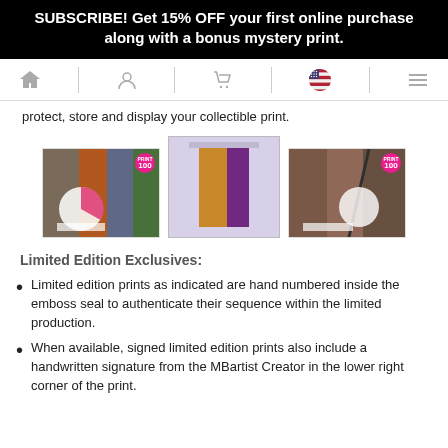SUBSCRIBE! Get 15% OFF your first online purchase along with a bonus mystery print.
[Figure (screenshot): Navigation bar with home, user, cart, US flag, and menu icons]
protect, store and display your collectible print.
[Figure (photo): Three thumbnail product images of limited edition collectible prints, two with pink '100' badges]
Limited Edition Exclusives:
Limited edition prints as indicated are hand numbered inside the emboss seal to authenticate their sequence within the limited production.
When available, signed limited edition prints also include a handwritten signature from the MBartist Creator in the lower right corner of the print.